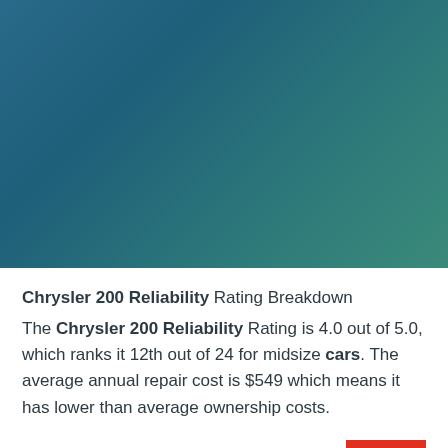[Figure (other): Teal-blue gradient background filling the upper portion of the page]
Chrysler 200 Reliability Rating Breakdown
The Chrysler 200 Reliability Rating is 4.0 out of 5.0, which ranks it 12th out of 24 for midsize cars. The average annual repair cost is $549 which means it has lower than average ownership costs.